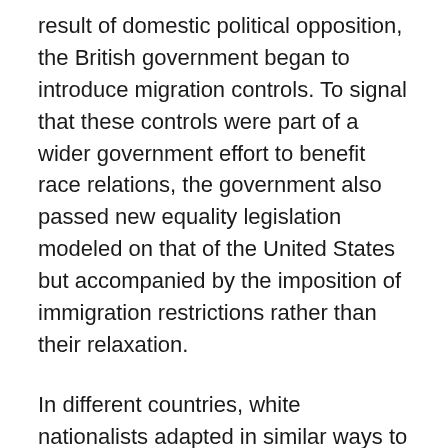result of domestic political opposition, the British government began to introduce migration controls. To signal that these controls were part of a wider government effort to benefit race relations, the government also passed new equality legislation modeled on that of the United States but accompanied by the imposition of immigration restrictions rather than their relaxation.
In different countries, white nationalists adapted in similar ways to outlast the challenges against them: they persisted not simply by becoming far-right fringe minorities but also by developing coded electoral appeals within major political parties, such as the Democratic Party's southern strategy in the United States. Everywhere, though, the array of forces against them led white nationalists to take up a defensive posture. In this new mode, white nationalists mobilized emotions of